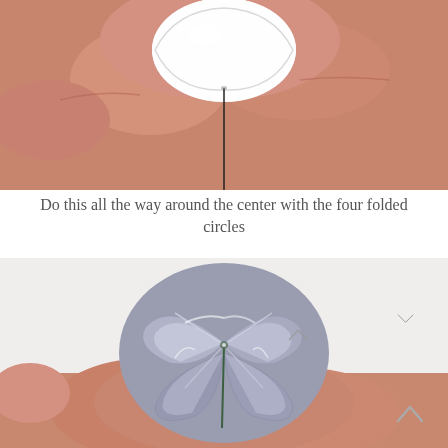[Figure (photo): Close-up of fingers holding a small white folded fabric circle, with a needle/pin being inserted through the center of it against a white background.]
Do this all the way around the center with the four folded circles
[Figure (photo): Hand holding a completed silver/grey satin fabric flower made of four folded circles arranged around a center point, showing the finished kusudama or fabric flower construction with a green stem/wire visible at the center.]